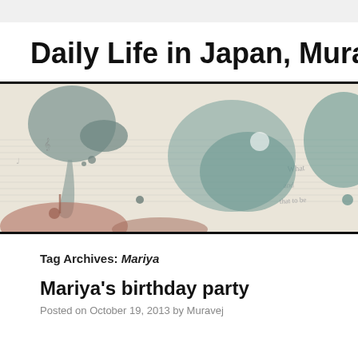Daily Life in Japan, Muravej Co
[Figure (illustration): Decorative banner image showing watercolor ink blot stains in teal, grey, and rust/red on a cream background with faint musical staff lines and handwritten script text.]
Tag Archives: Mariya
Mariya's birthday party
Posted on October 19, 2013 by Muravej